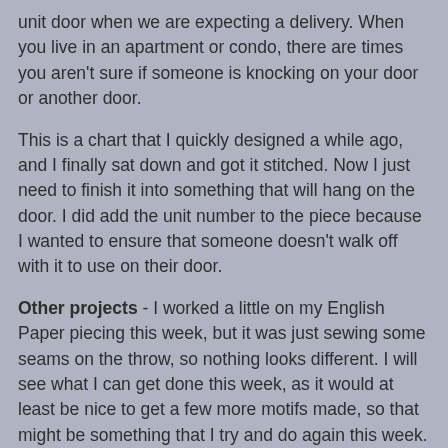unit door when we are expecting a delivery. When you live in an apartment or condo, there are times you aren't sure if someone is knocking on your door or another door.
This is a chart that I quickly designed a while ago, and I finally sat down and got it stitched. Now I just need to finish it into something that will hang on the door. I did add the unit number to the piece because I wanted to ensure that someone doesn't walk off with it to use on their door.
Other projects - I worked a little on my English Paper piecing this week, but it was just sewing some seams on the throw, so nothing looks different. I will see what I can get done this week, as it would at least be nice to get a few more motifs made, so that might be something that I try and do again this week.
I hope everyone is finding those bits of time each day to take some time for yourself and do something that you enjoy. I know that I have found that even those 15 or 20 minutes can make such a difference. Hope everyone has a good week and hopefully next week I will have something to show you.